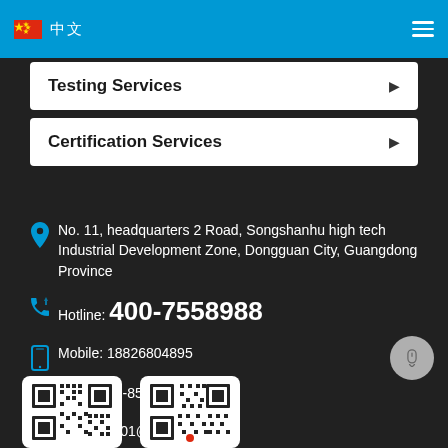中文 (nav bar with Chinese flag and hamburger menu)
Testing Services ▶
Certification Services ▶
No. 11, headquarters 2 Road, Songshanhu high tech Industrial Development Zone, Dongguan City, Guangdong Province
Hotline: 400-7558988
Mobile: 18826804895
TEL: 0769-85075888-6601
Email: net01@gtggroup.com
[Figure (other): Two QR codes at the bottom of the page]